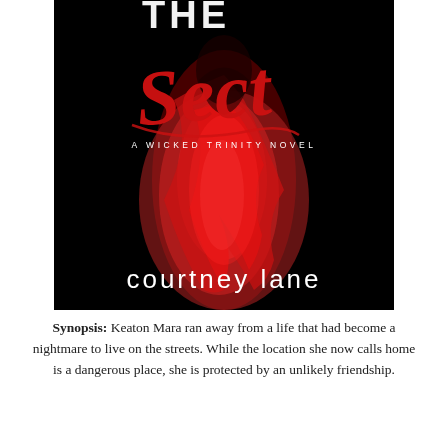[Figure (illustration): Book cover for 'The Sect: A Wicked Trinity Novel' by Courtney Lane. Dark background with a figure in a flowing red dress. Title text 'The Sect' in large red script lettering. Subtitle 'A WICKED TRINITY NOVEL' in small white spaced capitals. Author name 'courtney lane' in white lowercase at the bottom.]
Synopsis: Keaton Mara ran away from a life that had become a nightmare to live on the streets. While the location she now calls home is a dangerous place, she is protected by an unlikely friendship.